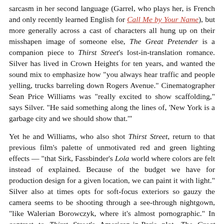sarcasm in her second language (Garrel, who plays her, is French and only recently learned English for Call Me by Your Name), but more generally across a cast of characters all hung up on their misshapen image of someone else, The Great Pretender is a companion piece to Thirst Street's lost-in-translation romance. Silver has lived in Crown Heights for ten years, and wanted the sound mix to emphasize how "you always hear traffic and people yelling, trucks barreling down Rogers Avenue." Cinematographer Sean Price Williams was "really excited to show scaffolding," says Silver. "He said something along the lines of, 'New York is a garbage city and we should show that.'"
Yet he and Williams, who also shot Thirst Street, return to that previous film's palette of unmotivated red and green lighting effects — "that Sirk, Fassbinder's Lola world where colors are felt instead of explained. Because of the budget we have for production design for a given location, we can paint it with light." Silver also at times opts for soft-focus exteriors so gauzy the camera seems to be shooting through a see-through nightgown, "like Walerian Borowczyk, where it's almost pornographic." In contrast to Thirst Street's American-in-Paris plot, The Great Pretender nods to French work influenced by the New York No Wave, like Angel/Maimone album art and Jacques Scandelari's made-in-NY gay and arthouse erotic films New York City Inferno and New York After Midnight (both 1978). "I think when you're a foreigner coming to a country that you have associations with," Silver says